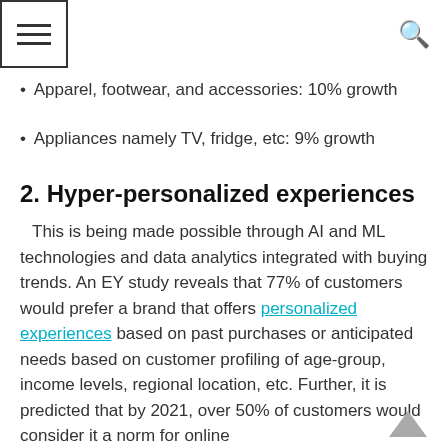Apparel, footwear, and accessories: 10% growth
Appliances namely TV, fridge, etc: 9% growth
2. Hyper-personalized experiences
This is being made possible through AI and ML technologies and data analytics integrated with buying trends. An EY study reveals that 77% of customers would prefer a brand that offers personalized experiences based on past purchases or anticipated needs based on customer profiling of age-group, income levels, regional location, etc. Further, it is predicted that by 2021, over 50% of customers would consider it a norm for online